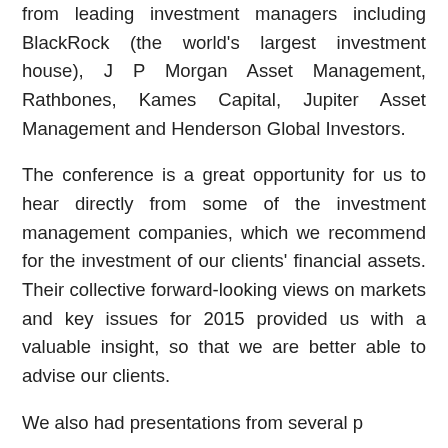from leading investment managers including BlackRock (the world's largest investment house), J P Morgan Asset Management, Rathbones, Kames Capital, Jupiter Asset Management and Henderson Global Investors.
The conference is a great opportunity for us to hear directly from some of the investment management companies, which we recommend for the investment of our clients' financial assets. Their collective forward-looking views on markets and key issues for 2015 provided us with a valuable insight, so that we are better able to advise our clients.
We also had presentations from several p